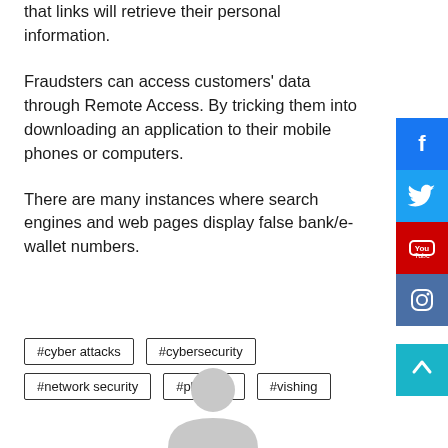that links will retrieve their personal information.
Fraudsters can access customers' data through Remote Access. By tricking them into downloading an application to their mobile phones or computers.
There are many instances where search engines and web pages display false bank/e-wallet numbers.
#cyber attacks
#cybersecurity
#network security
#phishing
#vishing